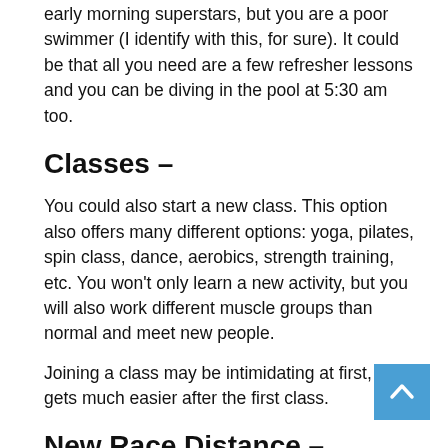early morning superstars, but you are a poor swimmer (I identify with this, for sure). It could be that all you need are a few refresher lessons and you can be diving in the pool at 5:30 am too.
Classes –
You could also start a new class. This option also offers many different options: yoga, pilates, spin class, dance, aerobics, strength training, etc. You won't only learn a new activity, but you will also work different muscle groups than normal and meet new people.
Joining a class may be intimidating at first, but it gets much easier after the first class.
New Race Distance –
For you runners out there – why not try a new race distance. Or, perhaps a triathlon, a destination race, a relay, or a trail